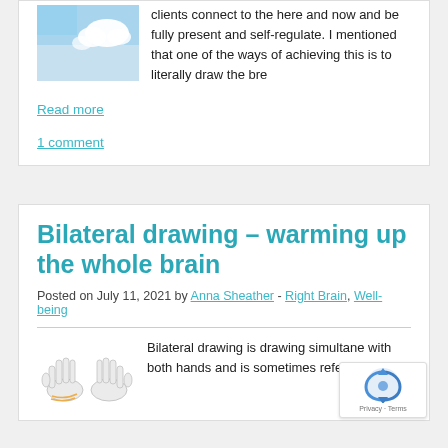clients connect to the here and now and be fully present and self-regulate. I mentioned that one of the ways of achieving this is to literally draw the bre
Read more
1 comment
Bilateral drawing – warming up the whole brain
Posted on July 11, 2021 by Anna Sheather - Right Brain, Well-being
[Figure (illustration): Two hands with drawing lines, illustrating bilateral drawing]
Bilateral drawing is drawing simultane with both hands and is sometimes referred